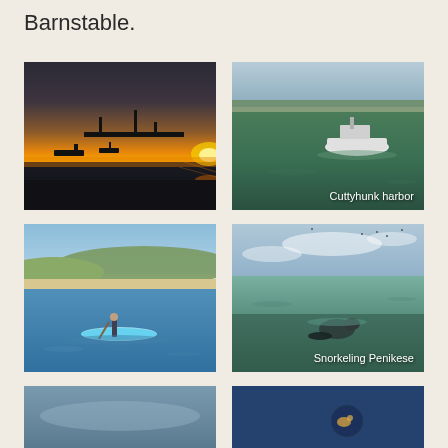Barnstable.
[Figure (photo): Sunset over a harbor marina with silhouetted boats and a dock, orange and yellow sky]
[Figure (photo): Aerial view of a white boat in green-blue harbor water, with Cuttyhunk harbor label]
[Figure (photo): Person standing on a paddleboard on calm blue water near a beach and green hills in background]
[Figure (photo): Person snorkeling in dark green ocean water near Penikese, with Snorkeling Penikese label]
[Figure (photo): Partially visible photo at bottom left, appears to show water or sky]
[Figure (photo): Partially visible photo at bottom right, shows blue fabric or clothing with a small logo/patch]